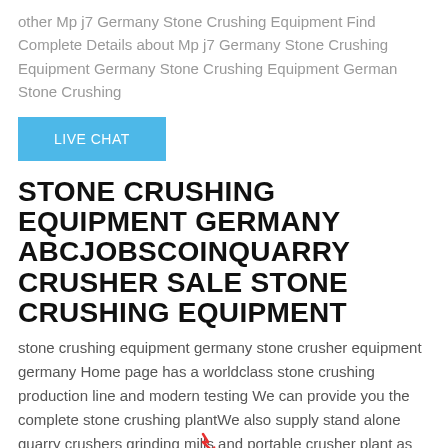other Mp j7 Germany Stone Crushing Equipment Find Complete Details about Mp j7 Germany Stone Crushing Equipment Germany Stone Crushing Equipment German Stone Crushing
[Figure (other): Blue Live Chat button]
STONE CRUSHING EQUIPMENT GERMANY ABCJOBSCOINQUARRY CRUSHER SALE STONE CRUSHING EQUIPMENT
stone crushing equipment germany stone crusher equipment germany Home page has a worldclass stone crushing production line and modern testing We can provide you the complete stone crushing plantWe also supply stand alone quarry crushers grinding mills and portable crusher plant as well as their spare